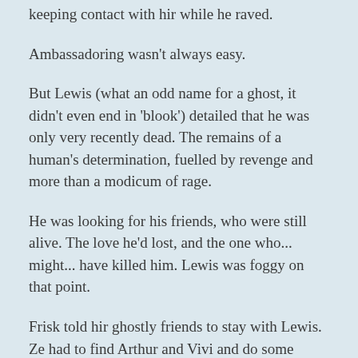keeping contact with hir while he raved.
Ambassadoring wasn't always easy.
But Lewis (what an odd name for a ghost, it didn't even end in 'blook') detailed that he was only very recently dead. The remains of a human's determination, fuelled by revenge and more than a modicum of rage.
He was looking for his friends, who were still alive. The love he'd lost, and the one who... might... have killed him. Lewis was foggy on that point.
Frisk told hir ghostly friends to stay with Lewis. Ze had to find Arthur and Vivi and do some mediation. Ze was the Ambassador for all monsters, and this